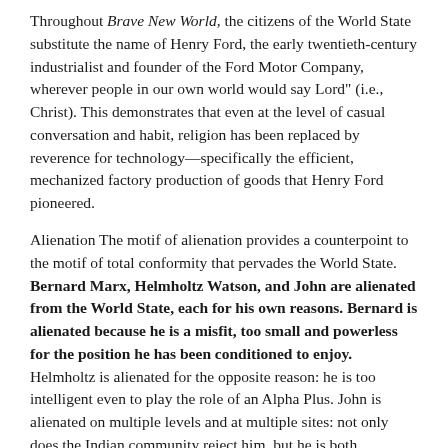Throughout Brave New World, the citizens of the World State substitute the name of Henry Ford, the early twentieth-century industrialist and founder of the Ford Motor Company, wherever people in our own world would say Lord" (i.e., Christ). This demonstrates that even at the level of casual conversation and habit, religion has been replaced by reverence for technology—specifically the efficient, mechanized factory production of goods that Henry Ford pioneered.
Alienation The motif of alienation provides a counterpoint to the motif of total conformity that pervades the World State. Bernard Marx, Helmholtz Watson, and John are alienated from the World State, each for his own reasons. Bernard is alienated because he is a misfit, too small and powerless for the position he has been conditioned to enjoy. Helmholtz is alienated for the opposite reason: he is too intelligent even to play the role of an Alpha Plus. John is alienated on multiple levels and at multiple sites: not only does the Indian community reject him, but he is both unwilling and unable to be part…